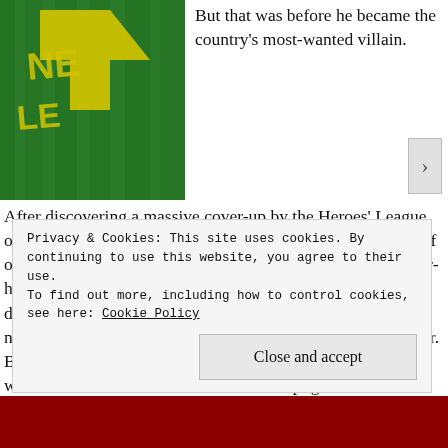[Figure (photo): Close-up photo of a green fabric/jersey with a large yellow arrow/logo design, partially cropped at top]
But that was before he became the country's most-wanted villain.
After discovering a massive cover-up by the Heroes' League of Heroes, Bells and his friends Jess, Emma, and Abby set off on a secret mission to find the Resistance. Meanwhile, power-hungry former hero Captain Orion is on the loose with a dangerous serum that renders meta-humans powerless, and a new militarized robotic threat emerges. Everyone is in danger. Between college applications and crushing on his best friend, will Bells have time to take down a corrupt government?
Privacy & Cookies: This site uses cookies. By continuing to use this website, you agree to their use.
To find out more, including how to control cookies, see here: Cookie Policy
Close and accept